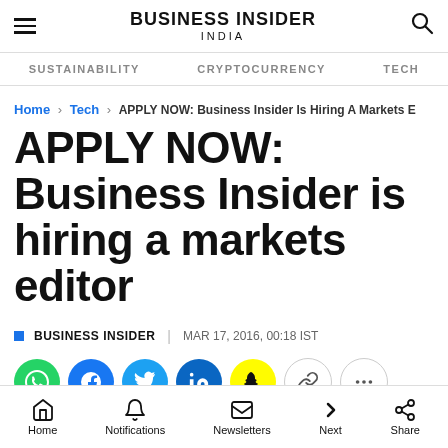BUSINESS INSIDER INDIA
SUSTAINABILITY | CRYPTOCURRENCY | TECH
Home › Tech › APPLY NOW: Business Insider Is Hiring A Markets E
APPLY NOW: Business Insider is hiring a markets editor
BUSINESS INSIDER | MAR 17, 2016, 00:18 IST